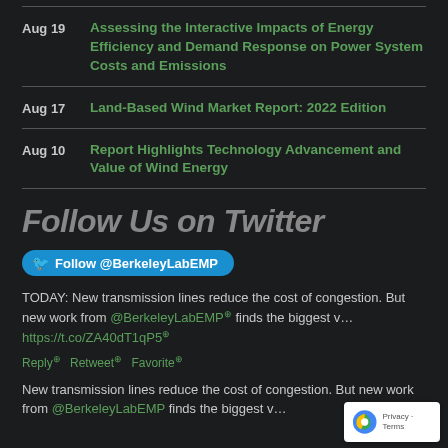Aug 19 — Assessing the Interactive Impacts of Energy Efficiency and Demand Response on Power System Costs and Emissions
Aug 17 — Land-Based Wind Market Report: 2022 Edition
Aug 10 — Report Highlights Technology Advancement and Value of Wind Energy
Follow Us on Twitter
Follow @BerkeleyLabEMP
TODAY: New transmission lines reduce the cost of congestion. But new work from @BerkeleyLabEMP finds the biggest v... https://t.co/ZA40dT1qP5
Reply Retweet Favorite
New transmission lines reduce the cost of congestion. But new work from @BerkeleyLabEMP finds the biggest v...